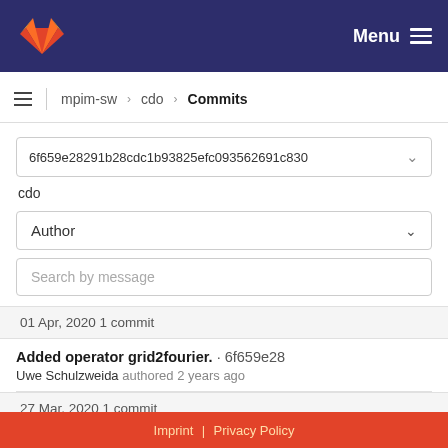GitLab — Menu
mpim-sw > cdo > Commits
6f659e28291b28cdc1b93825efc093562691c830
cdo
Author
Search by message
01 Apr, 2020 1 commit
Added operator grid2fourier. · 6f659e28
Uwe Schulzweida authored 2 years ago
27 Mar, 2020 1 commit
Imprint | Privacy Policy